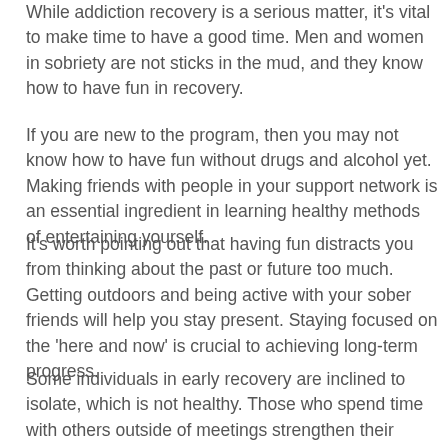While addiction recovery is a serious matter, it's vital to make time to have a good time. Men and women in sobriety are not sticks in the mud, and they know how to have fun in recovery.
If you are new to the program, then you may not know how to have fun without drugs and alcohol yet. Making friends with people in your support network is an essential ingredient in learning healthy methods of entertaining yourself.
It's worth pointing out that having fun distracts you from thinking about the past or future too much. Getting outdoors and being active with your sober friends will help you stay present. Staying focused on the 'here and now' is crucial to achieving long-term progress.
Some individuals in early recovery are inclined to isolate, which is not healthy. Those who spend time with others outside of meetings strengthen their recovery significantly. Here in Southern California, we are fortunate to have mountains and the ocean as our playgrounds. People in recovery take advantage of the great outdoors, some ski and snowboard, while others go hiking or surfing.